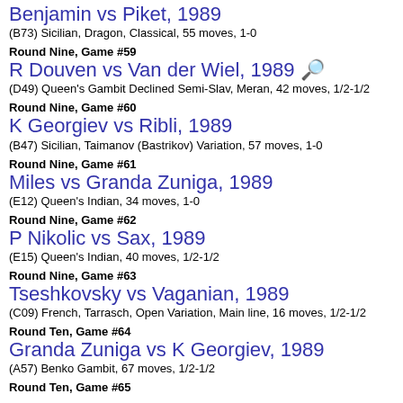Benjamin vs Piket, 1989
(B73) Sicilian, Dragon, Classical, 55 moves, 1-0
Round Nine, Game #59
R Douven vs Van der Wiel, 1989
(D49) Queen's Gambit Declined Semi-Slav, Meran, 42 moves, 1/2-1/2
Round Nine, Game #60
K Georgiev vs Ribli, 1989
(B47) Sicilian, Taimanov (Bastrikov) Variation, 57 moves, 1-0
Round Nine, Game #61
Miles vs Granda Zuniga, 1989
(E12) Queen's Indian, 34 moves, 1-0
Round Nine, Game #62
P Nikolic vs Sax, 1989
(E15) Queen's Indian, 40 moves, 1/2-1/2
Round Nine, Game #63
Tseshkovsky vs Vaganian, 1989
(C09) French, Tarrasch, Open Variation, Main line, 16 moves, 1/2-1/2
Round Ten, Game #64
Granda Zuniga vs K Georgiev, 1989
(A57) Benko Gambit, 67 moves, 1/2-1/2
Round Ten, Game #65